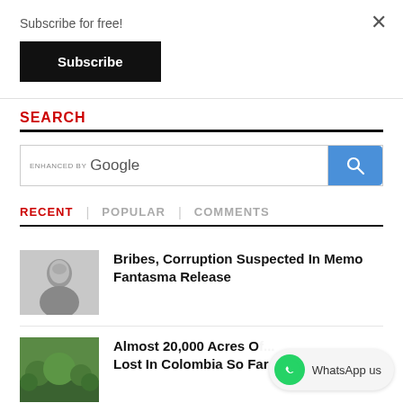Subscribe for free!
Subscribe
SEARCH
[Figure (screenshot): Google enhanced search bar with search button]
RECENT | POPULAR | COMMENTS
[Figure (photo): Thumbnail photo of a man]
Bribes, Corruption Suspected In Memo Fantasma Release
[Figure (photo): Thumbnail photo of nature/vegetation]
Almost 20,000 Acres Of... Lost In Colombia So Far This Year
WhatsApp us